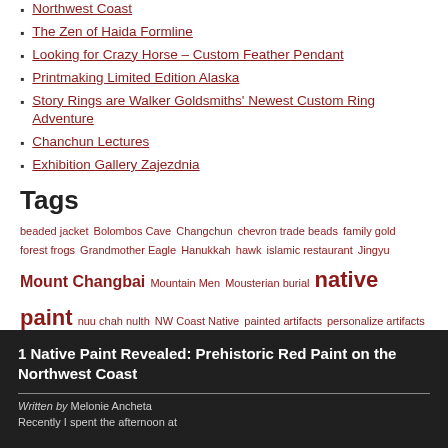Northwest Coast
The Zen of Haida Formline
Looking for Crazy Horse – Custom Feather Pendant
Printmaking Limited Edition Alaska
Story Rings are Walker Goldsmiths' Newest Custom Ring Adventure
Chanchun Lectures
Exhibition Gallery Zajezdnia
Tags
beaded jacket Bolombos Cave Changchun chevron trade beads family gold forest frogs Grandmother Eagle Hanukkah hawk islamic restaurant Jingyu Mount Changbai Mountain Men Mousterian burial native paint nuu chah nulth NW Coast Native painted artifacts personalize artifacts pigment mortar pot metal Prehistoric Red Paint red ochre salmon-egg paint silver bracelet trade bead Wales Island Walker Goldsmiths yellow ocher
1 Native Paint Revealed: Prehistoric Red Paint on the Northwest Coast
Written by Melonie Ancheta
Recently I spent the afternoon at